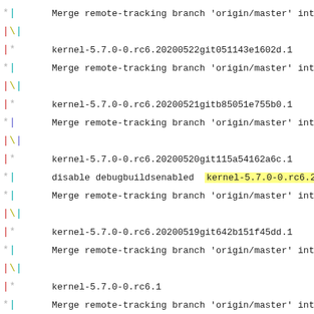* | Merge remote-tracking branch 'origin/master' into rawhide-
|\|
| *   kernel-5.7.0-0.rc6.20200522git051143e1602d.1
* |   Merge remote-tracking branch 'origin/master' into rawhide-
|\|
| *   kernel-5.7.0-0.rc6.20200521gitb85051e755b0.1
* |   Merge remote-tracking branch 'origin/master' into rawhide-
|\|
| *   kernel-5.7.0-0.rc6.20200520git115a54162a6c.1
* |   disable debugbuildsenabled  kernel-5.7.0-0.rc6.20200519git64
* |   Merge remote-tracking branch 'origin/master' into rawhide-
|\|
| *   kernel-5.7.0-0.rc6.20200519git642b151f45dd.1
* |   Merge remote-tracking branch 'origin/master' into rawhide-
|\|
| *   kernel-5.7.0-0.rc6.1
* |   Merge remote-tracking branch 'origin/master' into rawhide-
|\|
| *   kernel-5.7.0-0.rc5.20200515git1ae7efb38854.1
* |   disable debugbuildsenabled  kernel-5.7.0-0.rc5.20200513git2